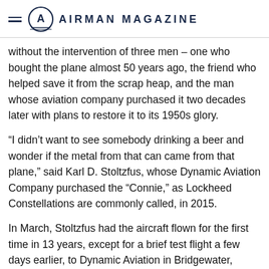AIRMAN MAGAZINE
without the intervention of three men – one who bought the plane almost 50 years ago, the friend who helped save it from the scrap heap, and the man whose aviation company purchased it two decades later with plans to restore it to its 1950s glory.
“I didn’t want to see somebody drinking a beer and wonder if the metal from that can came from that plane,” said Karl D. Stoltzfus, whose Dynamic Aviation Company purchased the “Connie,” as Lockheed Constellations are commonly called, in 2015.
In March, Stoltzfus had the aircraft flown for the first time in 13 years, except for a brief test flight a few days earlier, to Dynamic Aviation in Bridgewater, Virginia. Lockie Christler, son of the late Mel Christler, who bought the plane from the Air Force in 1970, flew the Columbine II from